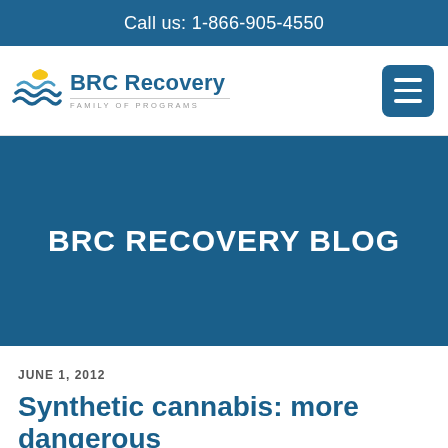Call us: 1-866-905-4550
[Figure (logo): BRC Recovery Family of Programs logo with sunrise/water wave icon]
BRC RECOVERY BLOG
JUNE 1, 2012
Synthetic cannabis: more dangerous